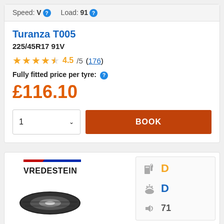Speed: V  Load: 91
Turanza T005
225/45R17 91V
4.5/5 (176)
Fully fitted price per tyre:
£116.10
1  BOOK
[Figure (logo): Vredestein brand logo with red and blue diagonal stripe and tyre image below]
D D 71